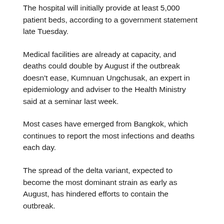The hospital will initially provide at least 5,000 patient beds, according to a government statement late Tuesday.
Medical facilities are already at capacity, and deaths could double by August if the outbreak doesn't ease, Kumnuan Ungchusak, an expert in epidemiology and adviser to the Health Ministry said at a seminar last week.
Most cases have emerged from Bangkok, which continues to report the most infections and deaths each day.
The spread of the delta variant, expected to become the most dominant strain as early as August, has hindered efforts to contain the outbreak.
With the mutated strain expected to spread to more provinces, the daily case count may surge to 10,000 from next week, Apisamai Srirangsan, spokeswoman for the